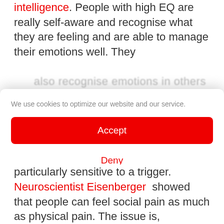intelligence. People with high EQ are really self-aware and recognise what they are feeling and are able to manage their emotions well. They
We use cookies to optimize our website and our service.
Accept
Deny
Preferences
Legal Information   Privacy Statement
particularly sensitive to a trigger. Neuroscientist Eisenberger showed that people can feel social pain as much as physical pain. The issue is,